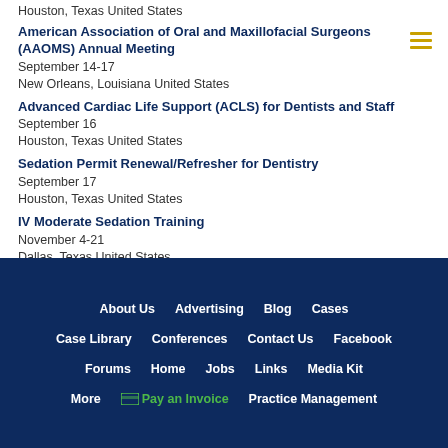Houston, Texas United States
American Association of Oral and Maxillofacial Surgeons (AAOMS) Annual Meeting
September 14-17
New Orleans, Louisiana United States
Advanced Cardiac Life Support (ACLS) for Dentists and Staff
September 16
Houston, Texas United States
Sedation Permit Renewal/Refresher for Dentistry
September 17
Houston, Texas United States
IV Moderate Sedation Training
November 4-21
Dallas, Texas United States
More Conferences »»
About Us  Advertising  Blog  Cases  Case Library  Conferences  Contact Us  Facebook  Forums  Home  Jobs  Links  Media Kit  More  Pay an Invoice  Practice Management